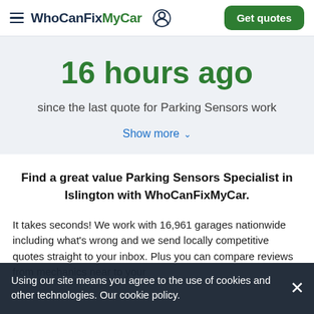WhoCanFixMyCar  Get quotes
16 hours ago
since the last quote for Parking Sensors work
Show more
Find a great value Parking Sensors Specialist in Islington with WhoCanFixMyCar.
It takes seconds! We work with 16,961 garages nationwide including what's wrong and we send locally competitive quotes straight to your inbox. Plus you can compare reviews from mechanics near to your
Using our site means you agree to the use of cookies and other technologies. Our cookie policy.